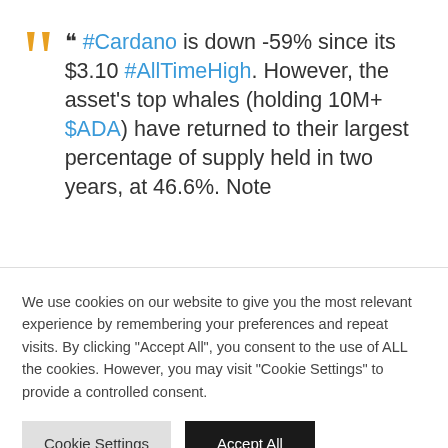❝ #Cardano is down -59% since its $3.10 #AllTimeHigh. However, the asset's top whales (holding 10M+ $ADA) have returned to their largest percentage of supply held in two years, at 46.6%. Note
We use cookies on our website to give you the most relevant experience by remembering your preferences and repeat visits. By clicking "Accept All", you consent to the use of ALL the cookies. However, you may visit "Cookie Settings" to provide a controlled consent.
Read our Cookie Statement